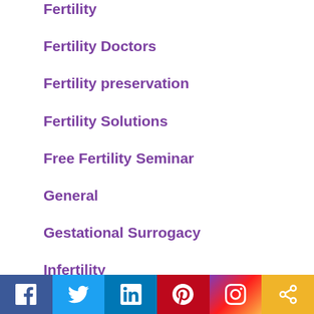Fertility
Fertility Doctors
Fertility preservation
Fertility Solutions
Free Fertility Seminar
General
Gestational Surrogacy
Infertility
IUI
IVF
Social media links: Facebook, Twitter, LinkedIn, Pinterest, Instagram, Chain/Share